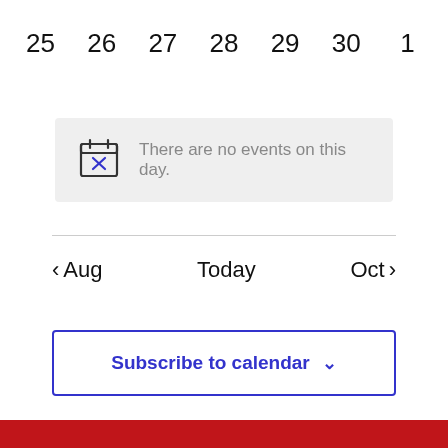25  26  27  28  29  30  1
[Figure (illustration): No events message box with a calendar icon showing an X and text: There are no events on this day.]
There are no events on this day.
< Aug    Today    Oct >
Subscribe to calendar  v